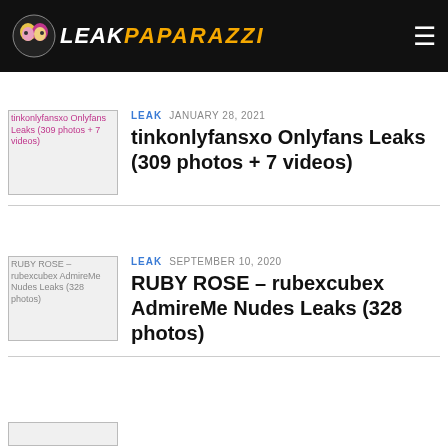LEAK PAPARAZZI
LEAK  JANUARY 28, 2021
tinkonlyfansxo Onlyfans Leaks (309 photos + 7 videos)
LEAK  SEPTEMBER 10, 2020
RUBY ROSE – rubexcubex AdmireMe Nudes Leaks (328 photos)